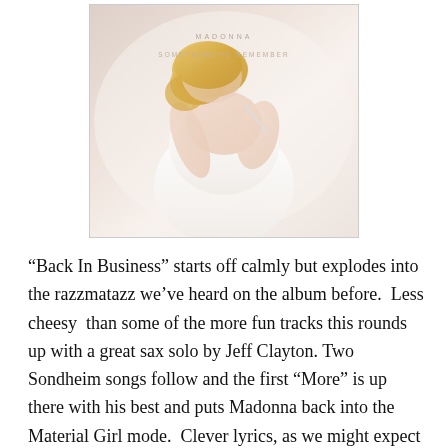[Figure (photo): Album cover for Madonna 'Something to Remember' showing Madonna in white dress, photographed from behind with blonde hair, embracing herself. Text on cover reads 'MADONNA' and 'SOMETHING TO REMEMBER'.]
“Back In Business” starts off calmly but explodes into the razzmatazz we’ve heard on the album before.  Less cheesy  than some of the more fun tracks this rounds up with a great sax solo by Jeff Clayton. Two Sondheim songs follow and the first “More” is up there with his best and puts Madonna back into the Material Girl mode.  Clever lyrics, as we might expect and a great production from Madonna and Bill Bottrall.  It fits right